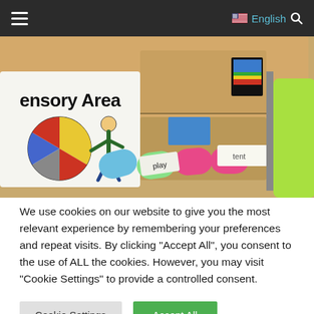≡   🇺🇸 English 🔍
[Figure (photo): Close-up photo of an educational sensory area with a wooden shelf showing a 'Sensory Area' label with colorful spinner icon, colorful velcro picture-word strips, and a bright green object on the right.]
We use cookies on our website to give you the most relevant experience by remembering your preferences and repeat visits. By clicking "Accept All", you consent to the use of ALL the cookies. However, you may visit "Cookie Settings" to provide a controlled consent.
Cookie Settings   Accept All